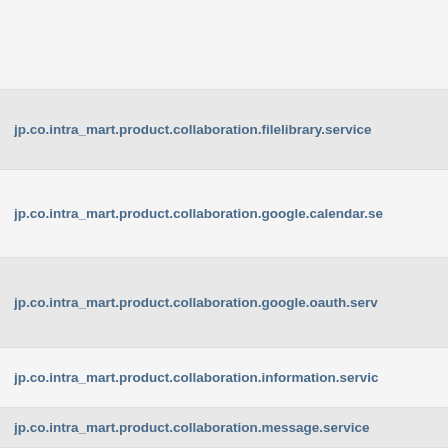jp.co.intra_mart.product.collaboration.filelibrary.service
jp.co.intra_mart.product.collaboration.google.calendar.se
jp.co.intra_mart.product.collaboration.google.oauth.serv
jp.co.intra_mart.product.collaboration.information.servic
jp.co.intra_mart.product.collaboration.message.service